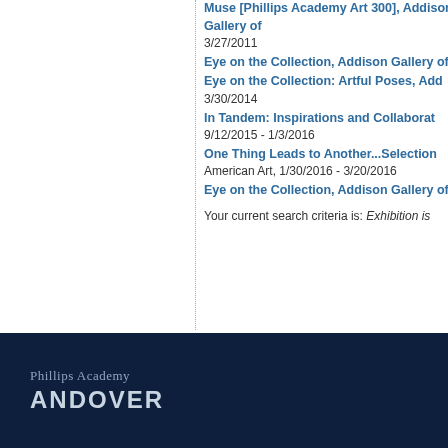Muse [Phillips Academy Art 300], Addison Gallery of American Art, 3/27/2011
Eye on the Collection, Addison Gallery of American Art
Eye on the Collection: Artful Poses, Addison Gallery of American Art, 3/30/2014
In Tandem: Inspirations and Collaborations, 9/12/2015 - 1/3/2016
One Thing Leads to Another...Selections from the Collection of American Art, 1/30/2016 - 3/20/2016
Eye on the Collection, Addison Gallery of American Art
Your current search criteria is: Exhibition is...
Phillips Academy ANDOVER